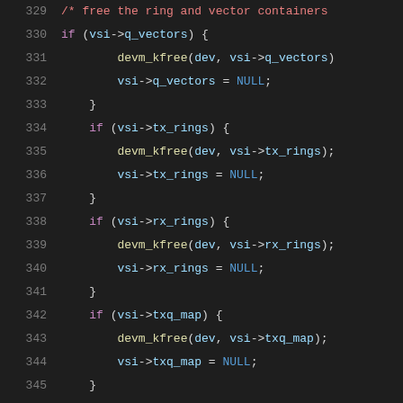[Figure (screenshot): Source code snippet showing C code for freeing ring and vector containers, lines 329-350, with syntax highlighting on dark background. Contains conditional blocks freeing q_vectors, tx_rings, rx_rings, txq_map, and rxq_map using devm_kfree and setting them to NULL.]